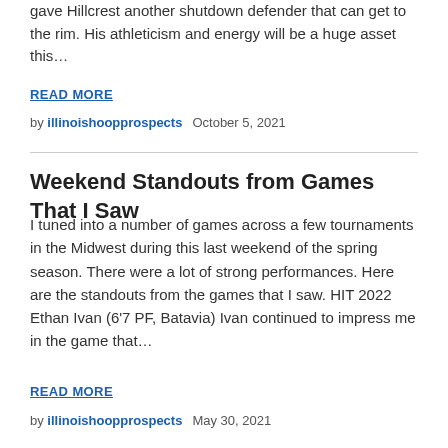gave Hillcrest another shutdown defender that can get to the rim. His athleticism and energy will be a huge asset this…
READ MORE
by illinoishoopprospects   October 5, 2021
Weekend Standouts from Games That I Saw
I tuned into a number of games across a few tournaments in the Midwest during this last weekend of the spring season. There were a lot of strong performances. Here are the standouts from the games that I saw. HIT 2022 Ethan Ivan (6'7 PF, Batavia) Ivan continued to impress me in the game that…
READ MORE
by illinoishoopprospects   May 30, 2021